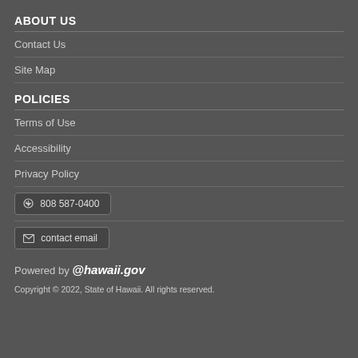ABOUT US
Contact Us
Site Map
POLICIES
Terms of Use
Accessibility
Privacy Policy
📞 808 587-0400
✉ contact email
Powered by @hawaii.gov
Copyright © 2022, State of Hawaii. All rights reserved.